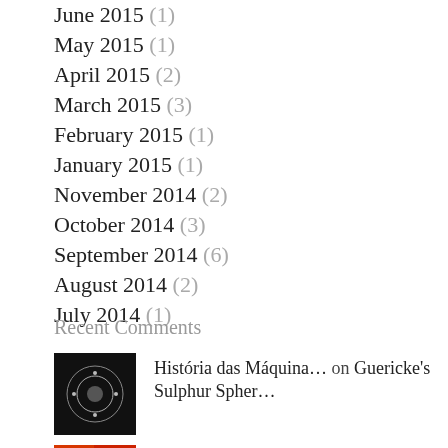June 2015 (1)
May 2015 (1)
April 2015 (2)
March 2015 (3)
February 2015 (1)
January 2015 (1)
November 2014 (2)
October 2014 (3)
September 2014 (6)
August 2014 (2)
July 2014 (1)
Recent Comments
História das Máquina… on Guericke's Sulphur Spher…
BenRogers on How Paradigm Trust is Supporti…